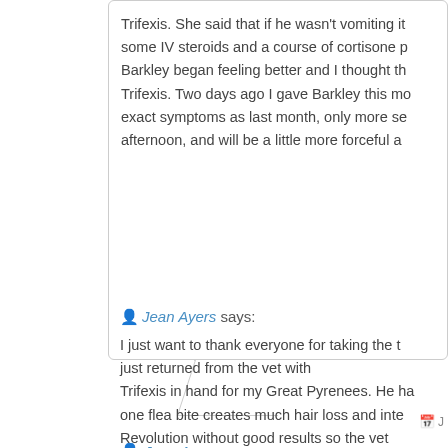Trifexis. She said that if he wasn't vomiting it some IV steroids and a course of cortisone p Barkley began feeling better and I thought th Trifexis. Two days ago I gave Barkley this mo exact symptoms as last month, only more se afternoon, and will be a little more forceful a
Jean Ayers says:
I just want to thank everyone for taking the t just returned from the vet with Trifexis in hand for my Great Pyrenees. He ha one flea bite creates much hair loss and inte Revolution without good results so the vet recommended Trifexis.... After reading all the feedback I've decided I w any chances with my dog....not sure what I v